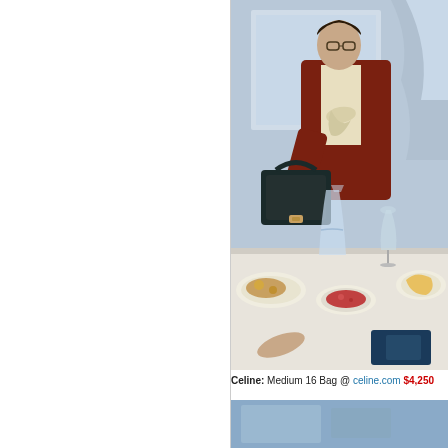[Figure (photo): Left panel: blank white area with a vertical divider line on the right side.]
[Figure (photo): Top right: A person in a dark red velvet blazer and cream bow-tie blouse holding a dark structured handbag (Celine Medium 16 Bag) at a dining table set with food, water pitcher, and glasses.]
Celine: Medium 16 Bag @ celine.com $4,250
[Figure (photo): Bottom right: partial view of another scene, showing a blue-toned background.]